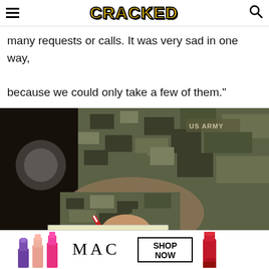CRACKED
many requests or calls. It was very sad in one way, because we could only take a few of them."
[Figure (photo): A person in U.S. Army camouflage uniform writing on a notepad with a red pen, photographed from the side/torso down.]
[Figure (photo): MAC Cosmetics advertisement showing three lipsticks (purple, pink/coral, hot pink) on the left and a red lipstick on the right, with MAC logo and SHOP NOW button in center.]